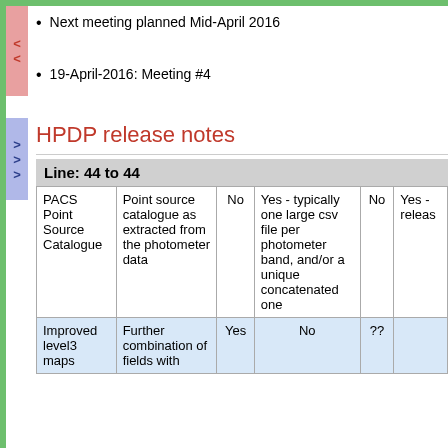Next meeting planned Mid-April 2016
19-April-2016: Meeting #4
HPDP release notes
Line: 44 to 44
|  |  | No |  | No |  |
| --- | --- | --- | --- | --- | --- |
| PACS Point Source Catalogue | Point source catalogue as extracted from the photometer data | No | Yes - typically one large csv file per photometer band, and/or a unique concatenated one | No | Yes - releas... |
| Improved level3 maps | Further combination of fields with | Yes | No | ?? |  |